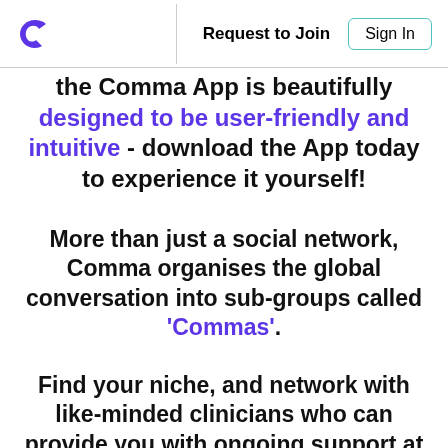Request to Join  Sign In
the Comma App is beautifully designed to be user-friendly and intuitive - download the App today to experience it yourself!
More than just a social network, Comma organises the global conversation into sub-groups called 'Commas'.
Find your niche, and network with like-minded clinicians who can provide you with ongoing support at your fingertips